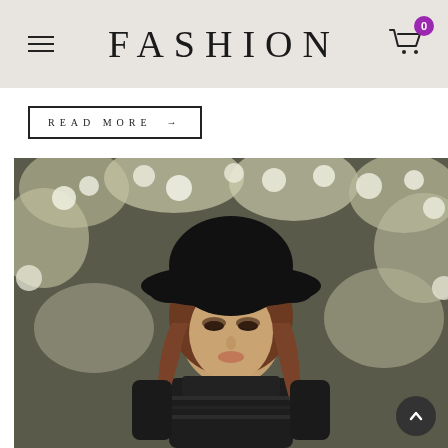FASHION
READ MORE →
[Figure (photo): Fashion model with long red hair wearing a wide-brimmed black felt hat and a black lace dress, posed in front of white flowering shrubs. Moody, editorial style photograph.]